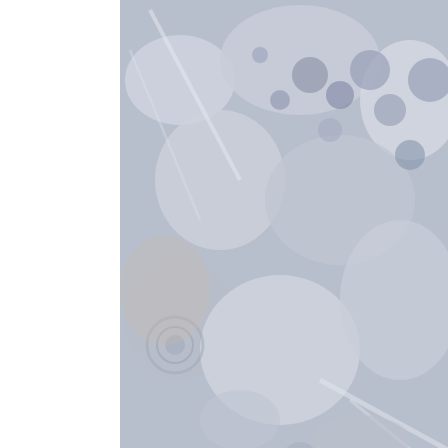[Figure (photo): Close-up macro photograph of frozen ice puddle surface showing crystalline frost patterns, bubble formations, and textured white icy structures against a grey-blue background.]
You can see all kinds of things in ice and I found an owl in this section of puddo right, tilted slightly to the left.
[Figure (photo): Second close-up macro photograph of frozen ice puddle surface showing swirling white frost crystals, dark blue water gaps, and organic textured ice formations with brown organic material at upper right.]